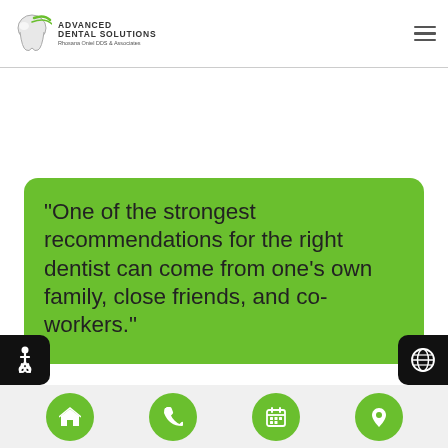Advanced Dental Solutions – Rhosana Oniel DDS & Associates
“One of the strongest recommendations for the right dentist can come from one’s own family, close friends, and co-workers.”
[Figure (infographic): Bottom navigation bar with four green circular buttons: home, phone, calendar, and location icons]